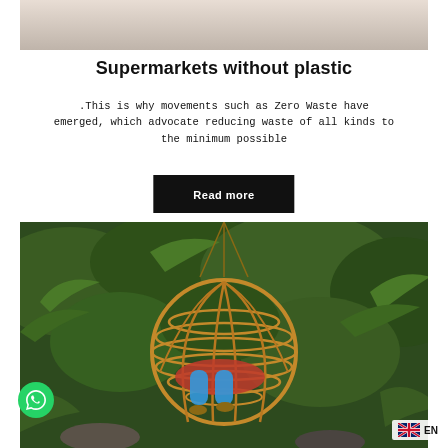[Figure (photo): Top portion of an outdoor photo, partially visible at the top of the page]
Supermarkets without plastic
.This is why movements such as Zero Waste have emerged, which advocate reducing waste of all kinds to the minimum possible
Read more
[Figure (photo): Person relaxing in a spherical rattan hanging chair surrounded by lush green tropical foliage]